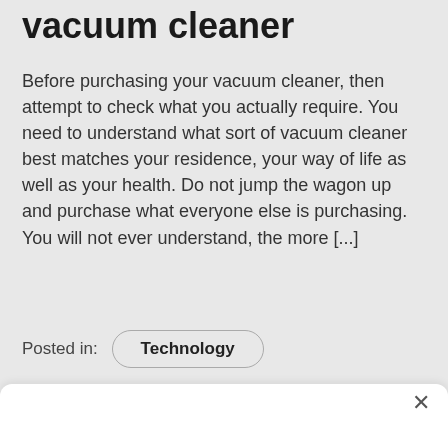vacuum cleaner
Before purchasing your vacuum cleaner, then attempt to check what you actually require. You need to understand what sort of vacuum cleaner best matches your residence, your way of life as well as your health. Do not jump the wagon up and purchase what everyone else is purchasing. You will not ever understand, the more [...]
Posted in:  Technology